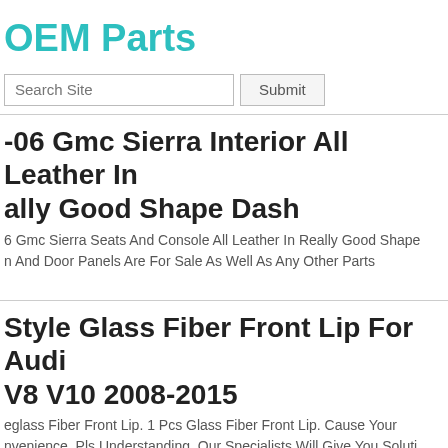OEM Parts
Search Site | Submit
-06 Gmc Sierra Interior All Leather In Really Good Shape Dash
6 Gmc Sierra Seats And Console All Leather In Really Good Shape n And Door Panels Are For Sale As Well As Any Other Parts
Style Glass Fiber Front Lip For Audi V8 V10 2008-2015
eglass Fiber Front Lip. 1 Pcs Glass Fiber Front Lip. Cause Your nvenience, Pls Understanding. Our Specialists Will Give You Soluti ending On The Situations. Year 2008-2015. Infiniti G37.